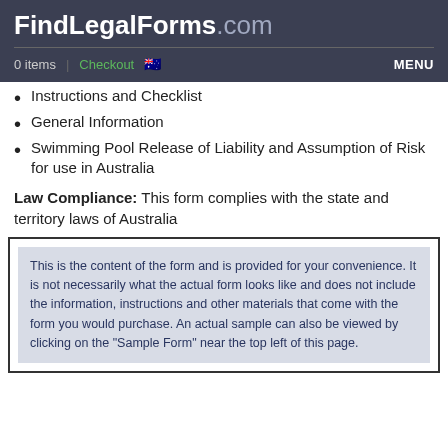FindLegalForms.com | 0 items | Checkout | MENU
Instructions and Checklist
General Information
Swimming Pool Release of Liability and Assumption of Risk for use in Australia
Law Compliance: This form complies with the state and territory laws of Australia
This is the content of the form and is provided for your convenience. It is not necessarily what the actual form looks like and does not include the information, instructions and other materials that come with the form you would purchase. An actual sample can also be viewed by clicking on the "Sample Form" near the top left of this page.